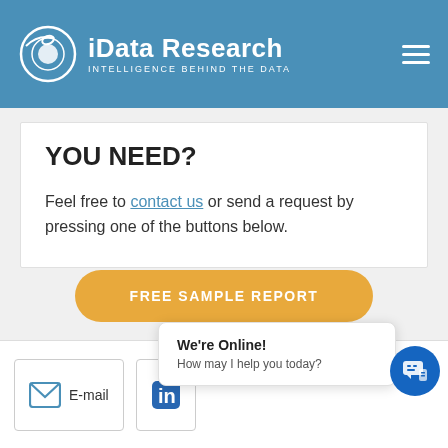iData Research INTELLIGENCE BEHIND THE DATA
YOU NEED?
Feel free to contact us or send a request by pressing one of the buttons below.
FREE SAMPLE REPORT
We're Online! How may I help you today?
E-mail